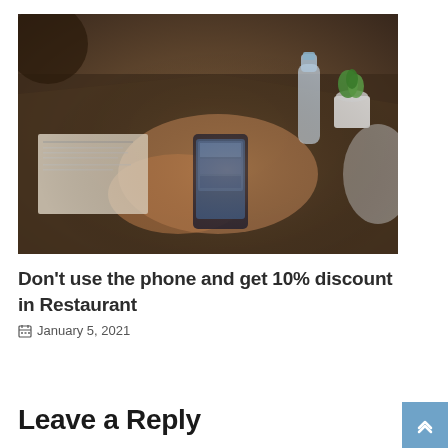[Figure (photo): Person sitting at a restaurant table holding a smartphone displaying a social media app, with a menu, water bottle, and small potted plant on the dark wooden table. Overhead view.]
Don't use the phone and get 10% discount in Restaurant
January 5, 2021
Leave a Reply